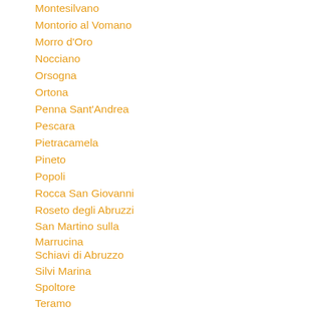Montesilvano
Montorio al Vomano
Morro d'Oro
Nocciano
Orsogna
Ortona
Penna Sant'Andrea
Pescara
Pietracamela
Pineto
Popoli
Rocca San Giovanni
Roseto degli Abruzzi
San Martino sulla Marrucina
Schiavi di Abruzzo
Silvi Marina
Spoltore
Teramo
Tollo
Torano Nuovo
Tortoreto
Vasto
Villamagna
▼ L'Aquila and its province